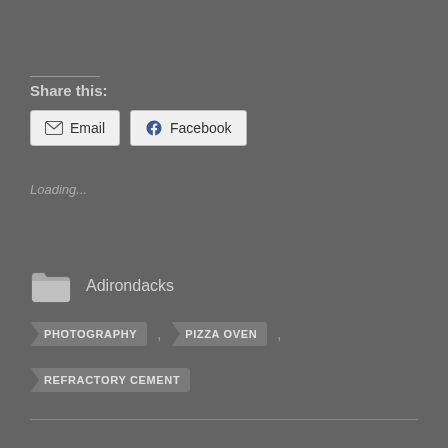Share this:
[Figure (other): Email and Facebook share buttons]
Loading...
Adirondacks
PHOTOGRAPHY
PIZZA OVEN
REFRACTORY CEMENT